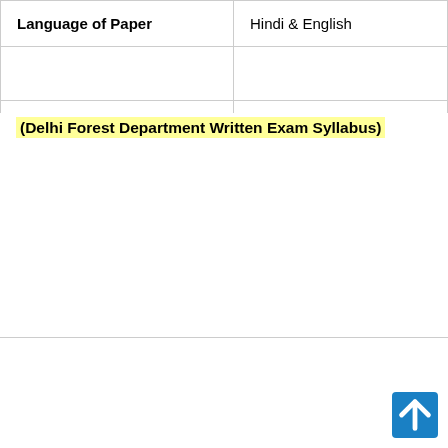| Language of Paper | Hindi & English |
|  |  |
(Delhi Forest Department Written Exam Syllabus)